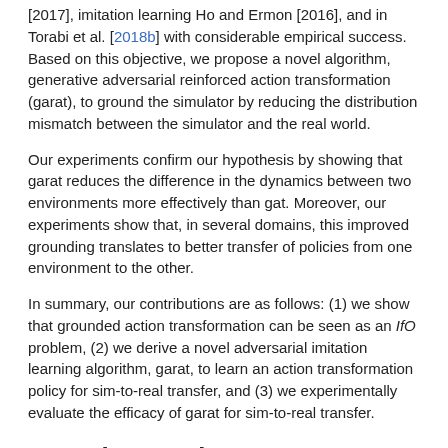[2017], imitation learning Ho and Ermon [2016], and in Torabi et al. [2018b] with considerable empirical success. Based on this objective, we propose a novel algorithm, generative adversarial reinforced action transformation (garat), to ground the simulator by reducing the distribution mismatch between the simulator and the real world.
Our experiments confirm our hypothesis by showing that garat reduces the difference in the dynamics between two environments more effectively than gat. Moreover, our experiments show that, in several domains, this improved grounding translates to better transfer of policies from one environment to the other.
In summary, our contributions are as follows: (1) we show that grounded action transformation can be seen as an IfO problem, (2) we derive a novel adversarial imitation learning algorithm, garat, to learn an action transformation policy for sim-to-real transfer, and (3) we experimentally evaluate the efficacy of garat for sim-to-real transfer.
2 Background
We begin by introducing notation, reviewing the sim-to-real-